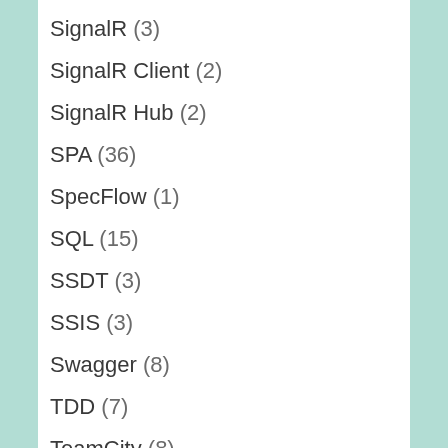SignalR (3)
SignalR Client (2)
SignalR Hub (2)
SPA (36)
SpecFlow (1)
SQL (15)
SSDT (3)
SSIS (3)
Swagger (8)
TDD (7)
TeamCity (8)
Tenants (4)
Threading (1)